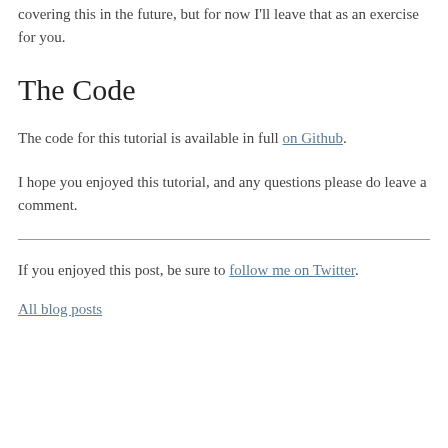covering this in the future, but for now I'll leave that as an exercise for you.
The Code
The code for this tutorial is available in full on Github.
I hope you enjoyed this tutorial, and any questions please do leave a comment.
If you enjoyed this post, be sure to follow me on Twitter.
All blog posts